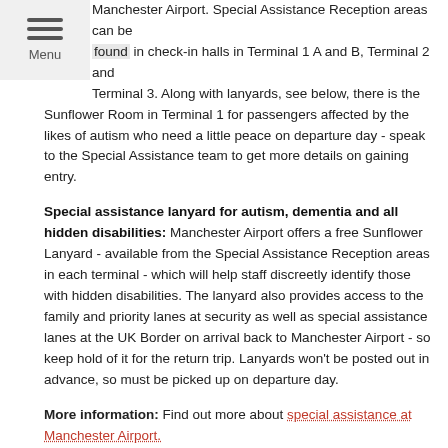Manchester Airport. Special Assistance Reception areas can be found in check-in halls in Terminal 1 A and B, Terminal 2 and Terminal 3. Along with lanyards, see below, there is the Sunflower Room in Terminal 1 for passengers affected by the likes of autism who need a little peace on departure day - speak to the Special Assistance team to get more details on gaining entry.
Special assistance lanyard for autism, dementia and all hidden disabilities: Manchester Airport offers a free Sunflower Lanyard - available from the Special Assistance Reception areas in each terminal - which will help staff discreetly identify those with hidden disabilities. The lanyard also provides access to the family and priority lanes at security as well as special assistance lanes at the UK Border on arrival back to Manchester Airport - so keep hold of it for the return trip. Lanyards won't be posted out in advance, so must be picked up on departure day.
More information: Find out more about special assistance at Manchester Airport.